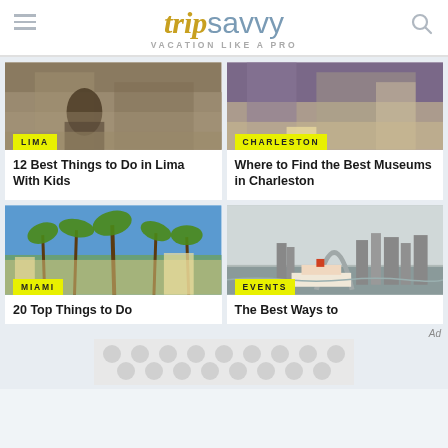TripSavvy — VACATION LIKE A PRO
[Figure (photo): Photo of Lima street scene with a traveler]
LIMA
12 Best Things to Do in Lima With Kids
[Figure (photo): Photo of museum or landmark in Charleston]
CHARLESTON
Where to Find the Best Museums in Charleston
[Figure (photo): Photo of palm trees and beach in Miami]
MIAMI
20 Top Things to Do
[Figure (photo): Photo of St. Louis Gateway Arch with riverboat]
EVENTS
The Best Ways to
Ad